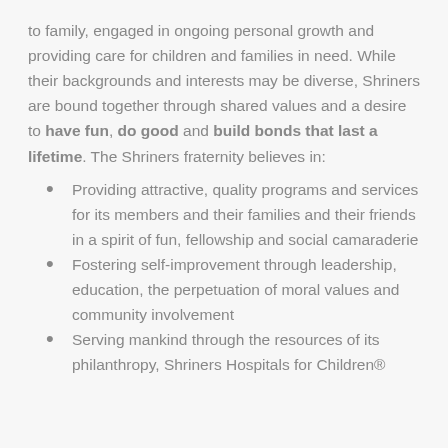to family, engaged in ongoing personal growth and providing care for children and families in need. While their backgrounds and interests may be diverse, Shriners are bound together through shared values and a desire to have fun, do good and build bonds that last a lifetime. The Shriners fraternity believes in:
Providing attractive, quality programs and services for its members and their families and their friends in a spirit of fun, fellowship and social camaraderie
Fostering self-improvement through leadership, education, the perpetuation of moral values and community involvement
Serving mankind through the resources of its philanthropy, Shriners Hospitals for Children®